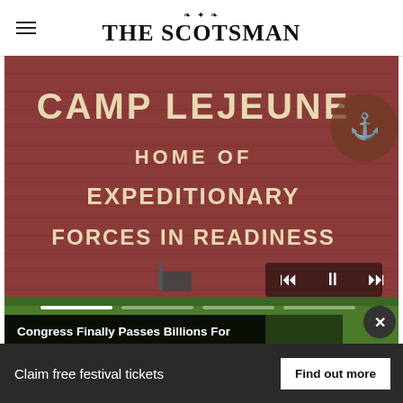THE SCOTSMAN
[Figure (photo): Camp Lejeune sign on brick wall reading 'CAMP LEJEUNE HOME OF EXPEDITIONARY FORCES IN READINESS' with a Marine Corps emblem visible on the right side. Media playback controls and progress bar visible in the lower right of the image.]
Congress Finally Passes Billions For Camp Lejeune Families
Commercial Waste Management - 24/7 Customer Ser | aowr-llc.com | Manages Your Company's Waste, Recycling, & Associated
Da...
Claim free festival tickets   Find out more